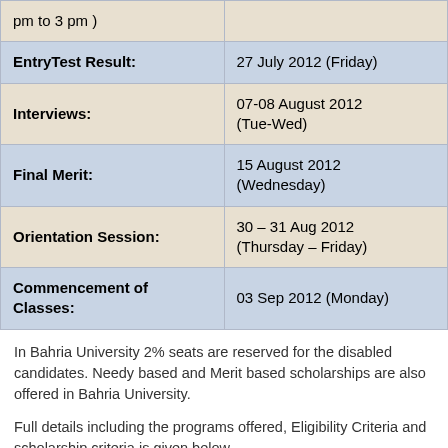| pm to 3 pm ) |  |
| EntryTest Result: | 27 July 2012 (Friday) |
| Interviews: | 07-08 August 2012 (Tue-Wed) |
| Final Merit: | 15 August 2012 (Wednesday) |
| Orientation Session: | 30 – 31 Aug 2012 (Thursday – Friday) |
| Commencement of Classes: | 03 Sep 2012 (Monday) |
In Bahria University 2% seats are reserved for the disabled candidates. Needy based and Merit based scholarships are also offered in Bahria University.
Full details including the programs offered, Eligibility Criteria and scholarship criteria is given below.